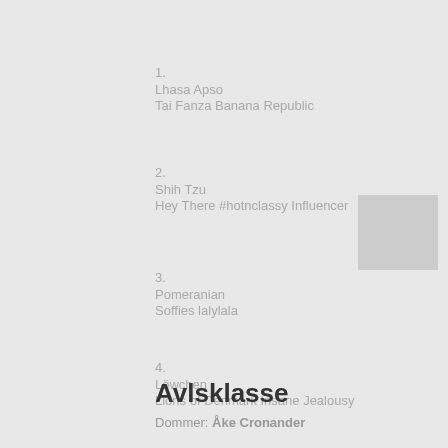1.
Lhasa Apso
Tai Fanza Banana Republic
2.
Shih Tzu
Hey There #hotnclassy Influencer
3.
Pomeranian
Soffies lalylala
4.
Löwchen
Lions of Denmark Insane Jealousy
Avlsklasse
Dommer: Åke Cronander